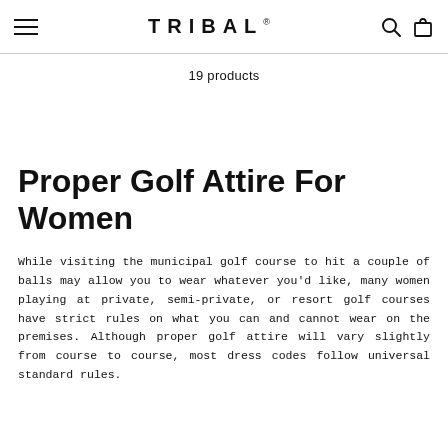TRIBAL®
19 products
Proper Golf Attire For Women
While visiting the municipal golf course to hit a couple of balls may allow you to wear whatever you'd like, many women playing at private, semi-private, or resort golf courses have strict rules on what you can and cannot wear on the premises. Although proper golf attire will vary slightly from course to course, most dress codes follow universal standard rules.